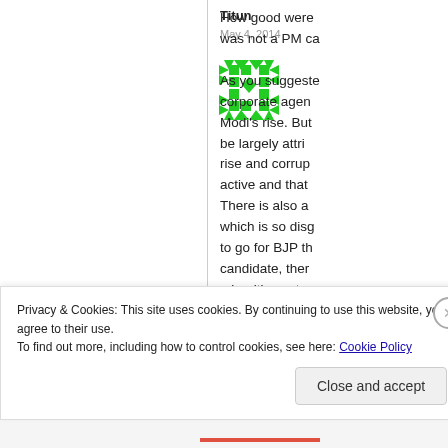Titun
May 4, 2014
[Figure (illustration): Green geometric avatar/identicon with diamond and square pattern]
How good were... was not a PM ca...

As you suggeste... corporate agen... Modi’s rise. But... be largely attri... rise and corrup... active and that... There is also a... which is so disg... to go for BJP th... candidate, ther... minorities vote...
Privacy & Cookies: This site uses cookies. By continuing to use this website, you agree to their use.
To find out more, including how to control cookies, see here: Cookie Policy
Close and accept